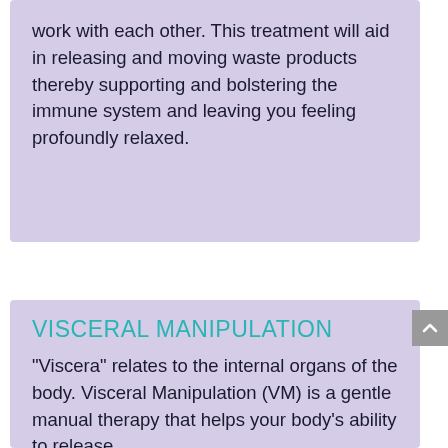work with each other. This treatment will aid in releasing and moving waste products thereby supporting and bolstering the immune system and leaving you feeling profoundly relaxed.
VISCERAL MANIPULATION
“Viscera” relates to the internal organs of the body. Visceral Manipulation (VM) is a gentle manual therapy that helps your body’s ability to release...